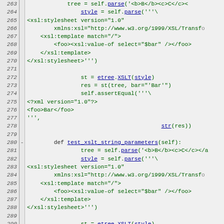[Figure (screenshot): Source code listing showing Python test code with line numbers 263-292, featuring XSLT transformation test methods with XML/XSL code snippets embedded as string literals. Lines are colored with green for code and blue/underlined for function/method names. Line 280 has a '-' diff marker.]